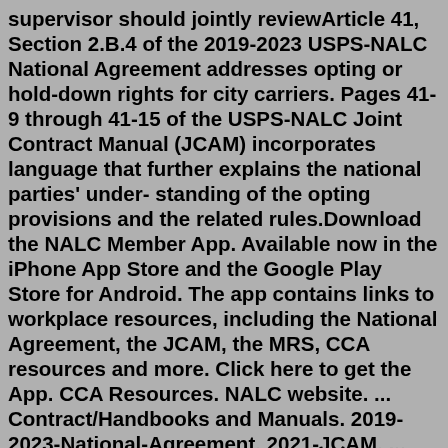supervisor should jointly reviewArticle 41, Section 2.B.4 of the 2019-2023 USPS-NALC National Agreement addresses opting or hold-down rights for city carriers. Pages 41-9 through 41-15 of the USPS-NALC Joint Contract Manual (JCAM) incorporates language that further explains the national parties' under- standing of the opting provisions and the related rules.Download the NALC Member App. Available now in the iPhone App Store and the Google Play Store for Android. The app contains links to workplace resources, including the National Agreement, the JCAM, the MRS, CCA resources and more. Click here to get the App. CCA Resources. NALC website. ... Contract/Handbooks and Manuals. 2019-2023-National-Agreement. 2021-JCAM. ... ©2020 by Branch 1779 NALC, AFL-CIO. Proudly created ... Contract Corner These questions and answers were developed by Joe Golonka and various union officers in Branch 2184 to help alleviate some of the stress and confusion caused by: misconceptions, myths (passed on through the years) and outright